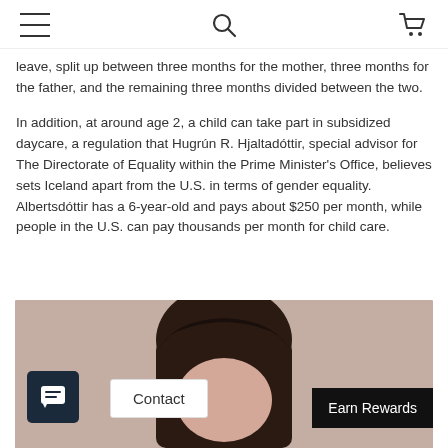Navigation header with hamburger menu, search icon, and shopping cart
leave, split up between three months for the mother, three months for the father, and the remaining three months divided between the two.
In addition, at around age 2, a child can take part in subsidized daycare, a regulation that Hugrún R. Hjaltadóttir, special advisor for The Directorate of Equality within the Prime Minister's Office, believes sets Iceland apart from the U.S. in terms of gender equality. Albertsdóttir has a 6-year-old and pays about $250 per month, while people in the U.S. can pay thousands per month for child care.
[Figure (photo): Photo of a person with dark curly hair, partially visible, with contact button, chat widget, and earn rewards button overlaid]